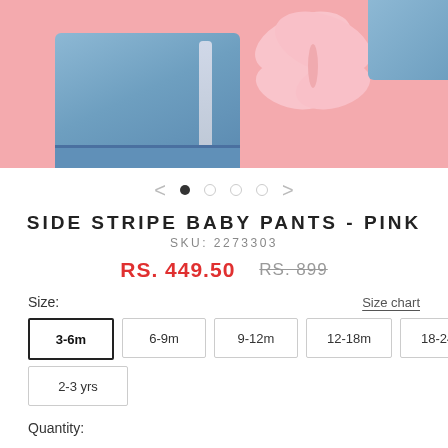[Figure (photo): Product photo of baby pants on a pink background with a decorative pink butterfly cutout]
SIDE STRIPE BABY PANTS - PINK
SKU: 2273303
RS. 449.50   RS. 899
Size:
Size chart
3-6m  6-9m  9-12m  12-18m  18-24m
2-3 yrs
Quantity: